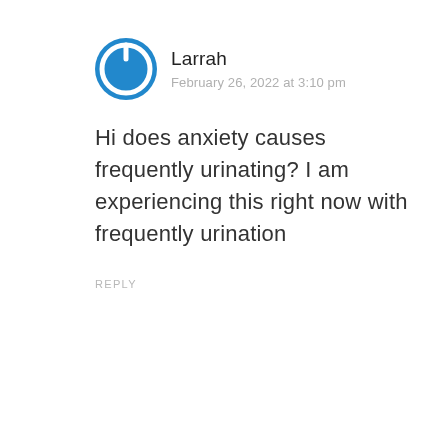[Figure (logo): Blue circular power/user avatar icon]
Larrah
February 26, 2022 at 3:10 pm
Hi does anxiety causes frequently urinating? I am experiencing this right now with frequently urination
REPLY